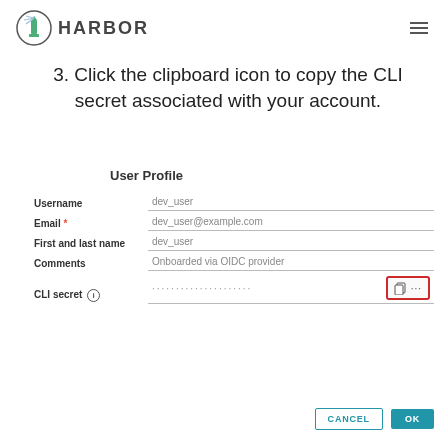[Figure (screenshot): Harbor application logo with lighthouse icon and HARBOR text, plus hamburger menu icon in top right]
3. Click the clipboard icon to copy the CLI secret associated with your account.
[Figure (screenshot): Harbor User Profile form showing fields: Username (dev_user), Email (dev_user@example.com), First and last name (dev_user), Comments (Onboarded via OIDC provider), CLI secret (dots) with clipboard icon highlighted in red border, and CANCEL/OK buttons]